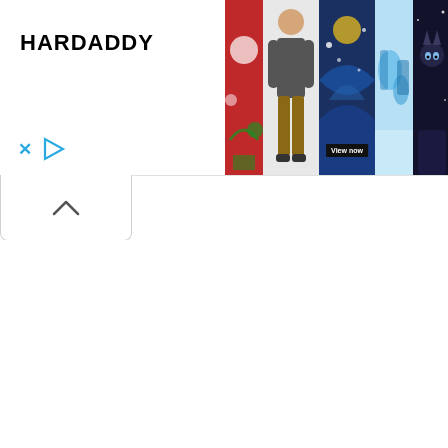[Figure (screenshot): HARDADDY brand advertisement banner showing 6 men's shirts/clothing items. Left side shows brand name 'HARDADDY' in bold black text with X and play icons below. Right side shows a horizontal strip of clothing photos: red Christmas-themed shirt, man in casual outfit, Starry Night print shirt with 'View now' button overlay, blue world map print shirt, dark cat print shirt, and white shirt.]
[Figure (screenshot): Collapse/minimize UI control bar with an upward-pointing chevron (^) arrow button on white background with rounded bottom corners and border.]